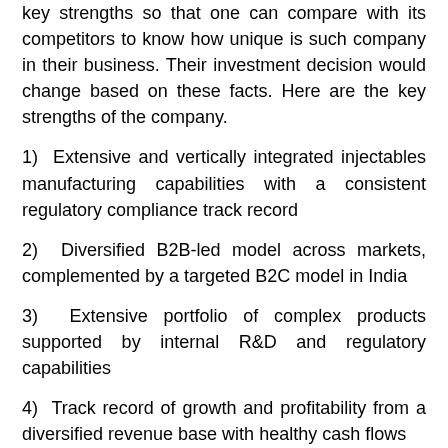key strengths so that one can compare with its competitors to know how unique is such company in their business. Their investment decision would change based on these facts. Here are the key strengths of the company.
1) Extensive and vertically integrated injectables manufacturing capabilities with a consistent regulatory compliance track record
2) Diversified B2B-led model across markets, complemented by a targeted B2C model in India
3) Extensive portfolio of complex products supported by internal R&D and regulatory capabilities
4) Track record of growth and profitability from a diversified revenue base with healthy cash flows